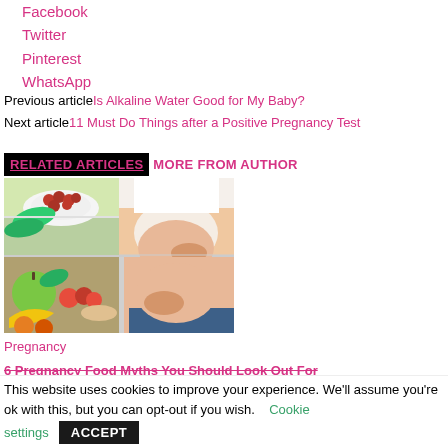Facebook
Twitter
Pinterest
WhatsApp
Previous article Is Alkaline Water Good for My Baby?
Next article 11 Must Do Things after a Positive Pregnancy Test
RELATED ARTICLES MORE FROM AUTHOR
[Figure (photo): Pregnant woman holding green apple next to open refrigerator with fruits and vegetables]
Pregnancy
6 Pregnancy Food Myths You Should Look Out For
This website uses cookies to improve your experience. We'll assume you're ok with this, but you can opt-out if you wish. Cookie settings ACCEPT